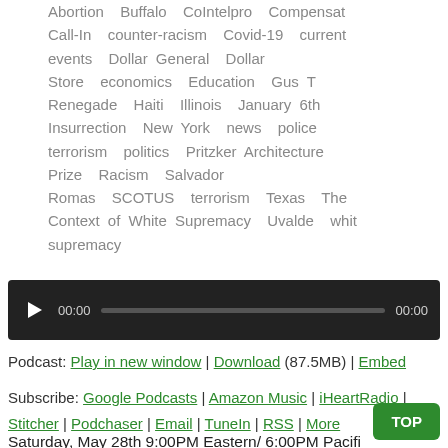Abortion Buffalo CoIntelpro Compensation Call-In counter-racism Covid-19 current events Dollar General Dollar Store economics Education Gus T Renegade Haiti Illinois January 6th Insurrection New York news police terrorism politics Pritzker Architecture Prize Racism Salvador Romas SCOTUS terrorism Texas The Context of White Supremacy Uvalde white supremacy
[Figure (other): Audio player with play button, time display 00:00, progress bar, and end time 00:00 on dark background]
Podcast: Play in new window | Download (87.5MB) | Embed
Subscribe: Google Podcasts | Amazon Music | iHeartRadio | Stitcher | Podchaser | Email | TuneIn | RSS | More
Saturday, May 28th 9:00PM Eastern/ 6:00PM Pacific Context of White Supremacy hosts the weekly Compensatory Call-In. We encourage non-white listeners to dial in with...